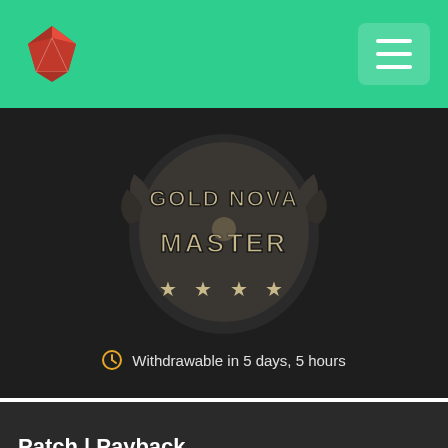[Figure (logo): Gold Nova Master CS:GO rank patch with stylized text and four stars]
Withdrawable in 5 days, 5 hours
Patch | Payback
Normal / High Grade Patch
$0.27  18% off
Suggested Price: $0.33